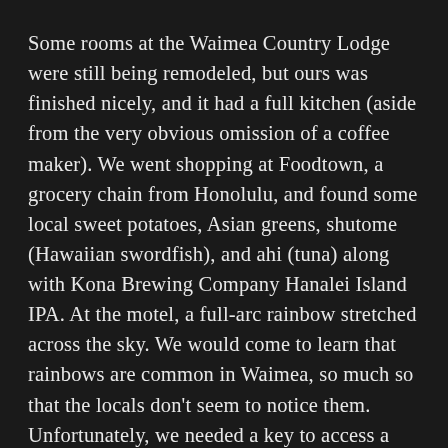Some rooms at the Waimea Country Lodge were still being remodeled, but ours was finished nicely, and it had a full kitchen (aside from the very obvious omission of a coffee maker). We went shopping at Foodtown, a grocery chain from Honolulu, and found some local sweet potatoes, Asian greens, shutome (Hawaiian swordfish), and ahi (tuna) along with Kona Brewing Company Hanalei Island IPA. At the motel, a full-arc rainbow stretched across the sky. We would come to learn that rainbows are common in Waimea, so much so that the locals don't seem to notice them. Unfortunately, we needed a key to access a grill to cook the fish, but there was nobody at the front desk, and nobody could be reached. So rather than settling for sushi, we pan-fried.